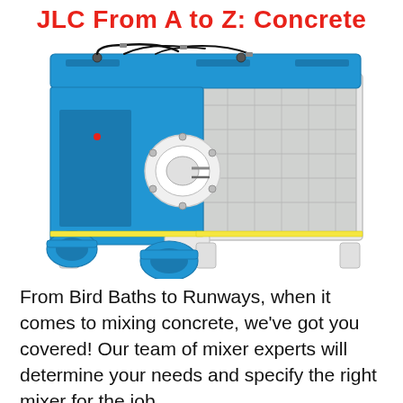JLC From A to Z: Concrete Mixers
[Figure (photo): Industrial concrete mixer machine — a large twin-shaft horizontal mixer with blue metal housing on the left side and a stainless steel/white mixing drum on the right, mounted on white frames, with blue electric motors at the bottom front.]
From Bird Baths to Runways, when it comes to mixing concrete, we've got you covered! Our team of mixer experts will determine your needs and specify the right mixer for the job.